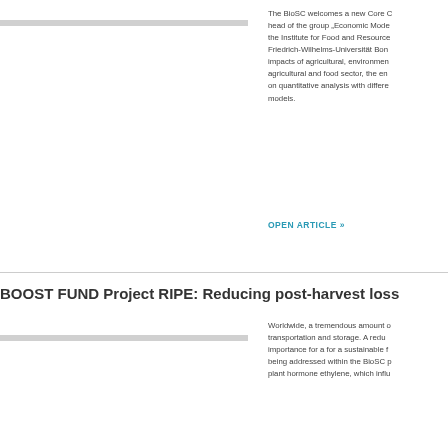The BioSC welcomes a new Core Group head of the group „Economic Mode... the Institute for Food and Resource Friedrich-Wilhelms-Universität Bonn impacts of agricultural, environment... agricultural and food sector, the env... on quantitative analysis with differe... models.
OPEN ARTICLE »
BOOST FUND Project RIPE: Reducing post-harvest loss...
Worldwide, a tremendous amount o... transportation and storage. A redu... importance for a for a sustainable f... being addressed within the BioSC p... plant hormone ethylene, which influ...